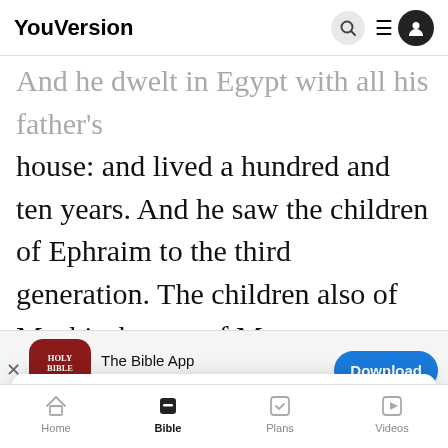YouVersion
And he dwelt in Egypt with all his father's house: and lived a hundred and ten years. And he saw the children of Ephraim to the third generation. The children also of Machir the son of Manasses were born on Joseph's knees.
[Figure (screenshot): App download banner for The Bible App with Holy Bible icon, 5-star rating 7.9M reviews, and Download button]
YouVersion uses cookies to personalize your experience. By using our website, you accept our use of cookies as described in our Privacy Policy.
Home | Bible | Plans | Videos